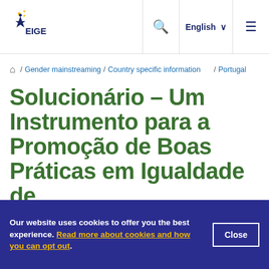EIGE — European Institute for Gender Equality | English | Navigation menu
Home / Gender mainstreaming / Country specific information / Portugal
Solucionário – Um Instrumento para a Promoção de Boas Práticas em Igualdade de Género nas Empresas
Our website uses cookies to offer you the best experience. Read more about cookies and how you can opt out.